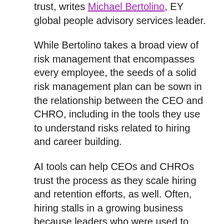trust, writes Michael Bertolino, EY global people advisory services leader.
While Bertolino takes a broad view of risk management that encompasses every employee, the seeds of a solid risk management plan can be sown in the relationship between the CEO and CHRO, including in the tools they use to understand risks related to hiring and career building.
AI tools can help CEOs and CHROs trust the process as they scale hiring and retention efforts, as well. Often, hiring stalls in a growing business because leaders who were used to knowing each candidate personally struggle to release control of that process, says Hung Lee, cofounder and CEO of workshape.io, a matching service for tech talent. Leaders who employ the right AI-based